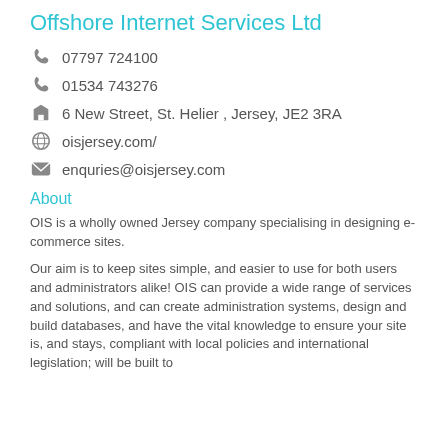Offshore Internet Services Ltd
07797 724100
01534 743276
6 New Street, St. Helier , Jersey, JE2 3RA
oisjersey.com/
enquries@oisjersey.com
About
OIS is a wholly owned Jersey company specialising in designing e-commerce sites.
Our aim is to keep sites simple, and easier to use for both users and administrators alike! OIS can provide a wide range of services and solutions, and can create administration systems, design and build databases, and have the vital knowledge to ensure your site is, and stays, compliant with local policies and international legislation; will be built to